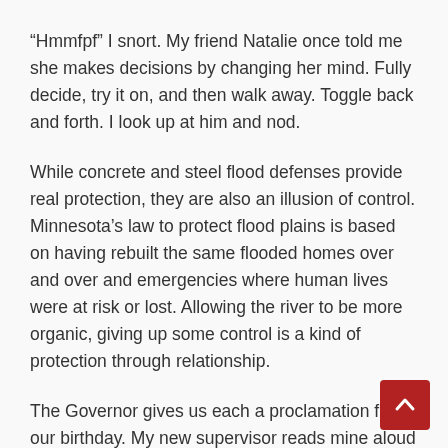“Hmmfpf” I snort. My friend Natalie once told me she makes decisions by changing her mind. Fully decide, try it on, and then walk away. Toggle back and forth. I look up at him and nod.
While concrete and steel flood defenses provide real protection, they are also an illusion of control. Minnesota’s law to protect flood plains is based on having rebuilt the same flooded homes over and over and emergencies where human lives were at risk or lost. Allowing the river to be more organic, giving up some control is a kind of protection through relationship.
The Governor gives us each a proclamation for our birthday. My new supervisor reads mine aloud at a staff